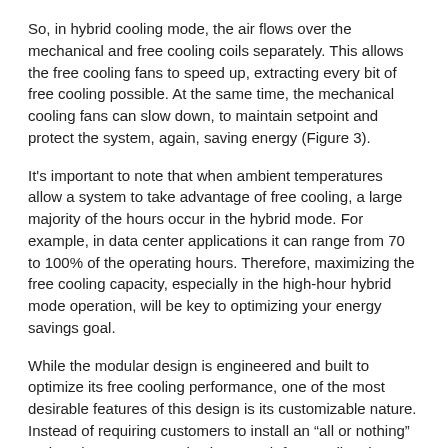So, in hybrid cooling mode, the air flows over the mechanical and free cooling coils separately. This allows the free cooling fans to speed up, extracting every bit of free cooling possible. At the same time, the mechanical cooling fans can slow down, to maintain setpoint and protect the system, again, saving energy (Figure 3).
It's important to note that when ambient temperatures allow a system to take advantage of free cooling, a large majority of the hours occur in the hybrid mode. For example, in data center applications it can range from 70 to 100% of the operating hours. Therefore, maximizing the free cooling capacity, especially in the high-hour hybrid mode operation, will be key to optimizing your energy savings goal.
While the modular design is engineered and built to optimize its free cooling performance, one of the most desirable features of this design is its customizable nature. Instead of requiring customers to install an “all or nothing” option, they can customize how much free cooling they would like for each job. The modular design allows for many different configurations. While some jobs may only desire a limited amount of free cooling, others may want substantially more. With the modular system, the amount is completely